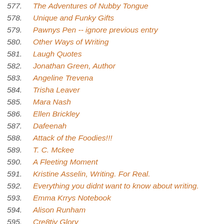577. The Adventures of Nubby Tongue
578. Unique and Funky Gifts
579. Pawnys Pen -- ignore previous entry
580. Other Ways of Writing
581. Laugh Quotes
582. Jonathan Green, Author
583. Angeline Trevena
584. Trisha Leaver
585. Mara Nash
586. Ellen Brickley
587. Dafeenah
588. Attack of the Foodies!!!
589. T. C. Mckee
590. A Fleeting Moment
591. Kristine Asselin, Writing. For Real.
592. Everything you didnt want to know about writing.
593. Emma Krrys Notebook
594. Alison Runham
595. Cre8tiv Glory